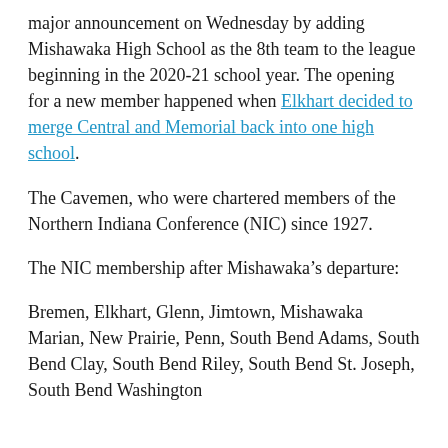major announcement on Wednesday by adding Mishawaka High School as the 8th team to the league beginning in the 2020-21 school year. The opening for a new member happened when Elkhart decided to merge Central and Memorial back into one high school.
The Cavemen, who were chartered members of the Northern Indiana Conference (NIC) since 1927.
The NIC membership after Mishawaka’s departure:
Bremen, Elkhart, Glenn, Jimtown, Mishawaka Marian, New Prairie, Penn, South Bend Adams, South Bend Clay, South Bend Riley, South Bend St. Joseph, South Bend Washington